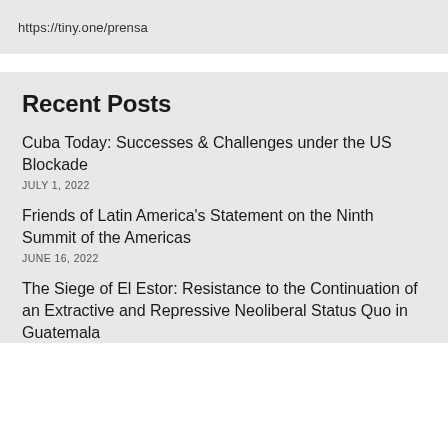https://tiny.one/prensa
Recent Posts
Cuba Today: Successes & Challenges under the US Blockade
JULY 1, 2022
Friends of Latin America's Statement on the Ninth Summit of the Americas
JUNE 16, 2022
The Siege of El Estor: Resistance to the Continuation of an Extractive and Repressive Neoliberal Status Quo in Guatemala